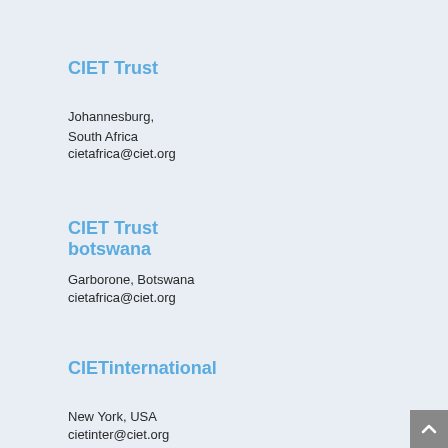CIET Trust
Johannesburg,
South Africa
cietafrica@ciet.org
CIET Trust botswana
Garborone, Botswana
cietafrica@ciet.org
CIETinternational
New York, USA
cietinter@ciet.org
CIETguatemala
Antigua, Guatemala